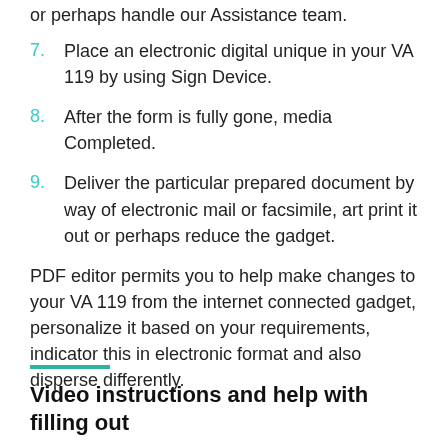or perhaps handle our Assistance team.
7. Place an electronic digital unique in your VA 119 by using Sign Device.
8. After the form is fully gone, media Completed.
9. Deliver the particular prepared document by way of electronic mail or facsimile, art print it out or perhaps reduce the gadget.
PDF editor permits you to help make changes to your VA 119 from the internet connected gadget, personalize it based on your requirements, indicator this in electronic format and also disperse differently.
Video instructions and help with filling out